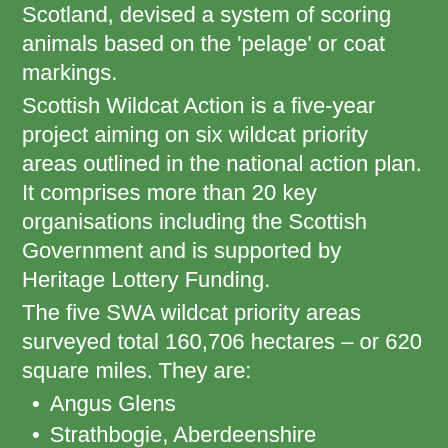Scotland, devised a system of scoring animals based on the 'pelage' or coat markings.
Scottish Wildcat Action is a five-year project aiming on six wildcat priority areas outlined in the national action plan. It comprises more than 20 key organisations including the Scottish Government and is supported by Heritage Lottery Funding.
The five SWA wildcat priority areas surveyed total 160,706 hectares – or 620 square miles. They are:
Angus Glens
Strathbogie, Aberdeenshire
Strathpeffer, Easter Ross
Strathavon, Moray
Northern Strathspey
Scottish Wildcat Action will work to reduce